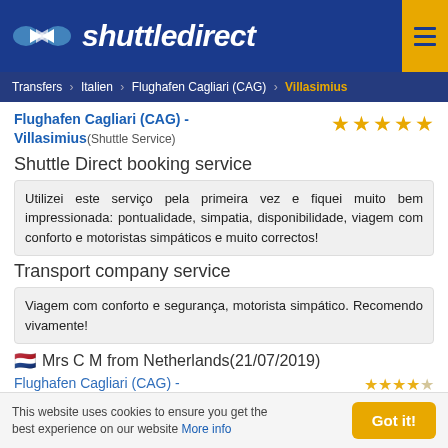shuttledirect
Transfers > Italien > Flughafen Cagliari (CAG) > Villasimius
Flughafen Cagliari (CAG) - Villasimius (Shuttle Service)
Shuttle Direct booking service
Utilizei este serviço pela primeira vez e fiquei muito bem impressionada: pontualidade, simpatia, disponibilidade, viagem com conforto e motoristas simpáticos e muito correctos!
Transport company service
Viagem com conforto e segurança, motorista simpático. Recomendo vivamente!
Mrs C M from Netherlands(21/07/2019)
This website uses cookies to ensure you get the best experience on our website More info